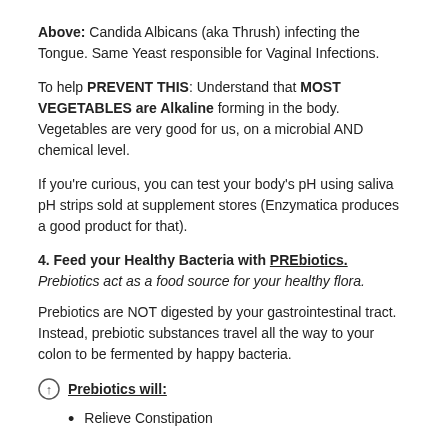Above: Candida Albicans (aka Thrush) infecting the Tongue. Same Yeast responsible for Vaginal Infections.
To help PREVENT THIS: Understand that MOST VEGETABLES are Alkaline forming in the body. Vegetables are very good for us, on a microbial AND chemical level.
If you're curious, you can test your body's pH using saliva pH strips sold at supplement stores (Enzymatica produces a good product for that).
4. Feed your Healthy Bacteria with PREbiotics. Prebiotics act as a food source for your healthy flora.
Prebiotics are NOT digested by your gastrointestinal tract. Instead, prebiotic substances travel all the way to your colon to be fermented by happy bacteria.
Prebiotics will:
Relieve Constipation